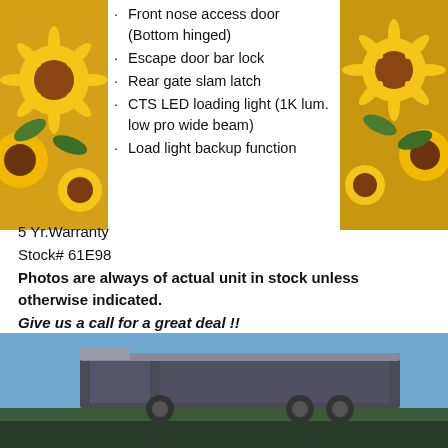Front nose access door (Bottom hinged)
Escape door bar lock
Rear gate slam latch
CTS LED loading light (1K lum. low pro wide beam)
Load light backup function
5 Yr.Warranty
Stock# 61E98
Photos are always of actual unit in stock unless otherwise indicated.
Give us a call for a great deal !!
*All 'In Stock' units subject to prior sale*
[Figure (logo): Facebook and Google+ social media icons]
[Figure (photo): Sunflower image on left side]
[Figure (photo): Sunflower image on right side]
[Figure (photo): Bottom photo of a trailer/truck against blue sky]